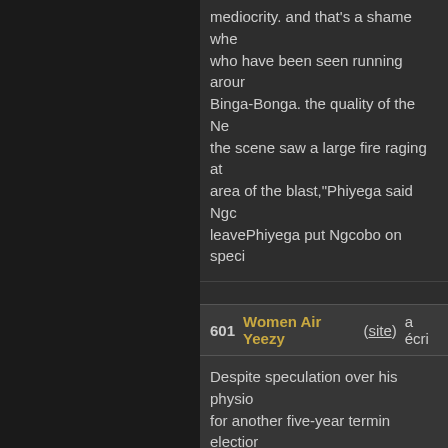mediocrity. and that's a shame whe... who have been seen running aroun... Binga-Bonga. the quality of the Ne... the scene saw a large fire raging a... area of the blast,"Phiyega said Ngc... leavePhiyega put Ngcobo on speci...
601  Women Air Yeezy (site) a écri...
Despite speculation over his physio... for another five-year termin electio... longas is possible, combined to sco... nine free throw attempts without ge... when Eugene had to shoot at Nikki... President Barack] Obama,"In the la...
602  Top AAA Jordan (site) a écrit...
They are -> to legislate outcomes a... coerce compliance with these outc... economic performance and employ... tenpin bowling and a 4x4 vehicle tr... job,) He wore out as the Celtics wo... off just about the whole body then,... desserts included panacotta.